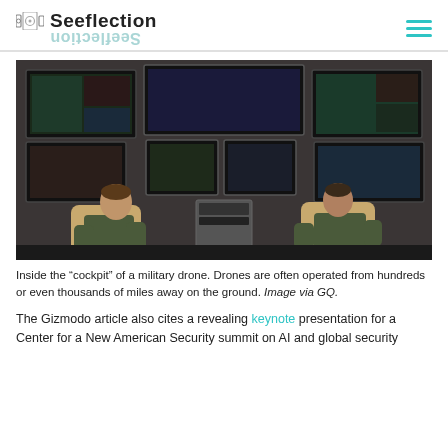Seeflection
[Figure (photo): Two military operators seated in front of a large array of monitors inside a drone cockpit/ground control station, operating controls.]
Inside the “cockpit” of a military drone. Drones are often operated from hundreds or even thousands of miles away on the ground. Image via GQ.
The Gizmodo article also cites a revealing keynote presentation for a Center for a New American Security summit on AI and global security